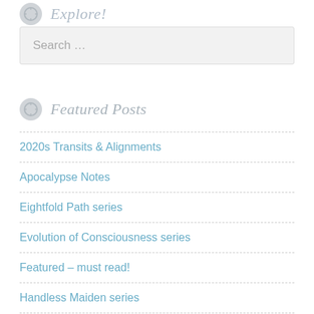Explore!
Search ...
Featured Posts
2020s Transits & Alignments
Apocalypse Notes
Eightfold Path series
Evolution of Consciousness series
Featured – must read!
Handless Maiden series
Mystic Warrior Practice